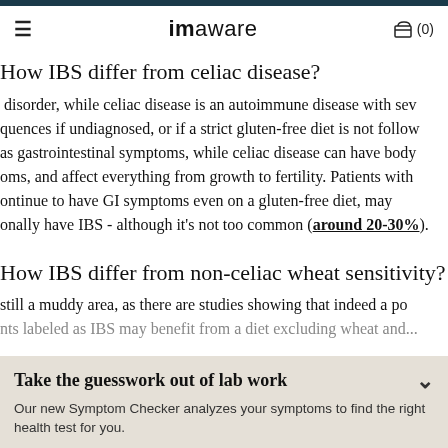imaware — navigation bar with hamburger menu and cart (0)
How does IBS differ from celiac disease?
IBS is a functional disorder, while celiac disease is an autoimmune disease with severe consequences if undiagnosed, or if a strict gluten-free diet is not followed. IBS mainly has gastrointestinal symptoms, while celiac disease can have body-wide symptoms, and affect everything from growth to fertility. Patients with celiac who continue to have GI symptoms even on a gluten-free diet, may additionally have IBS - although it's not too common (around 20-30%).
How does IBS differ from non-celiac wheat sensitivity?
This is still a muddy area, as there are studies showing that indeed a portion of patients labeled as IBS may benefit from a diet excluding wheat and...
Take the guesswork out of lab work
Our new Symptom Checker analyzes your symptoms to find the right health test for you.